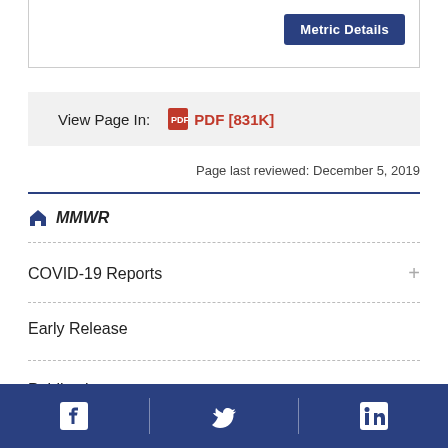[Figure (screenshot): Metric Details button in top right of a content box]
View Page In:  PDF [831K]
Page last reviewed: December 5, 2019
MMWR
COVID-19 Reports
Early Release
Publications
[Figure (infographic): Footer bar with Facebook, Twitter, and LinkedIn social media icons]